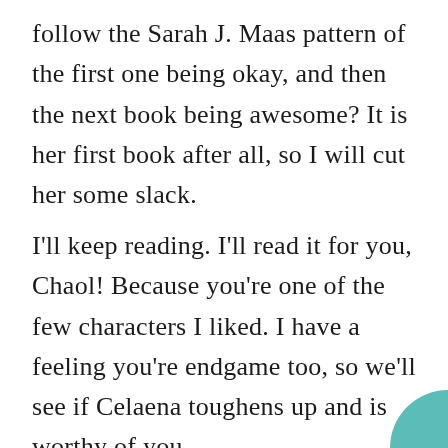follow the Sarah J. Maas pattern of the first one being okay, and then the next book being awesome? It is her first book after all, so I will cut her some slack.
I'll keep reading. I'll read it for you, Chaol! Because you're one of the few characters I liked. I have a feeling you're endgame too, so we'll see if Celaena toughens up and is worthy of you.